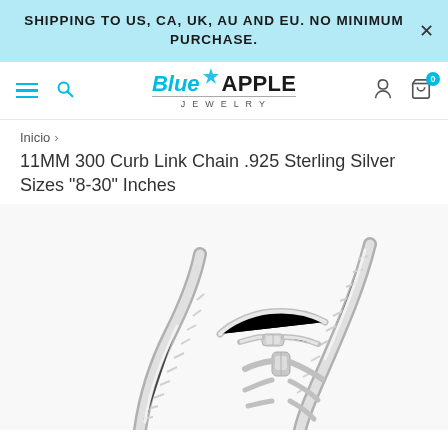SHIPPING TO US, CA, UK, AU AND EU. NO MINIMUM PURCHASE.
[Figure (logo): Blue Apple Jewelry logo with gem icon, blue italic 'Blue' and bold 'APPLE' text, 'JEWELRY' subtitle]
Inicio >
11MM 300 Curb Link Chain .925 Sterling Silver Sizes "8-30" Inches
[Figure (photo): Multiple sterling silver curb link chains of different sizes displayed against a white background, showing the interlocking flat oval links and lobster clasp connectors]